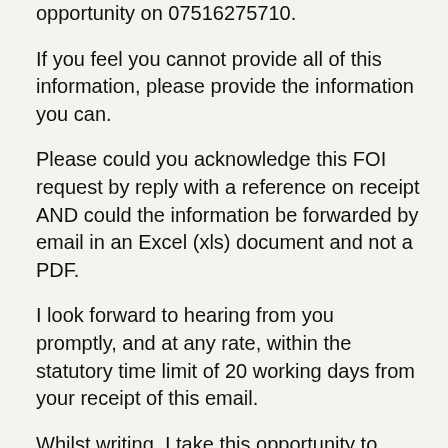opportunity on 07516275710.
If you feel you cannot provide all of this information, please provide the information you can.
Please could you acknowledge this FOI request by reply with a reference on receipt AND could the information be forwarded by email in an Excel (xls) document and not a PDF.
I look forward to hearing from you promptly, and at any rate, within the statutory time limit of 20 working days from your receipt of this email.
Whilst writing, I take this opportunity to remind you of the Information Commissioner's public statements, in which he has stated that there is a "presumption of disclosure" under FOI.
Please note that if this request for FOI disclosure is refused, I reserve the right to take up the matter with